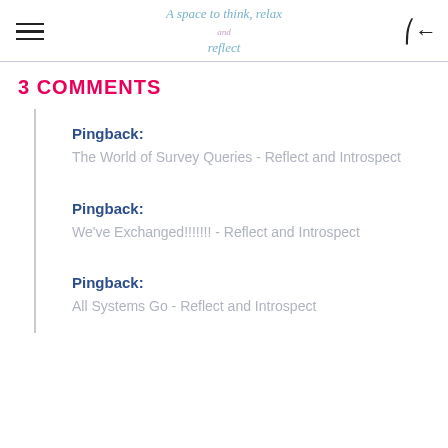A space to think, relax and reflect
3 COMMENTS
Pingback: The World of Survey Queries - Reflect and Introspect
Pingback: We've Exchanged!!!!!!! - Reflect and Introspect
Pingback: All Systems Go - Reflect and Introspect